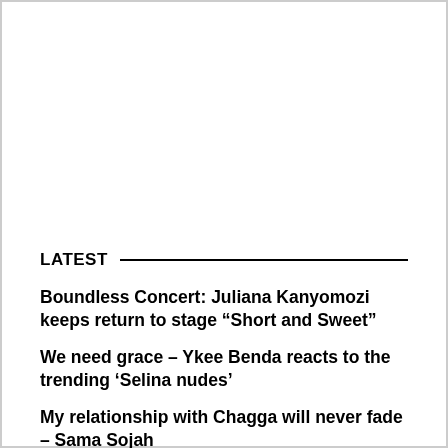LATEST
Boundless Concert: Juliana Kanyomozi keeps return to stage “Short and Sweet”
We need grace – Ykee Benda reacts to the trending ‘Selina nudes’
My relationship with Chagga will never fade – Sama Sojah